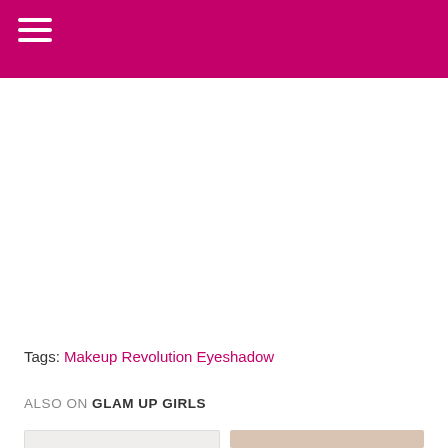≡
Tags: Makeup Revolution Eyeshadow
ALSO ON GLAM UP GIRLS
[Figure (photo): Two thumbnail images at the bottom of the page showing beauty/makeup related content]